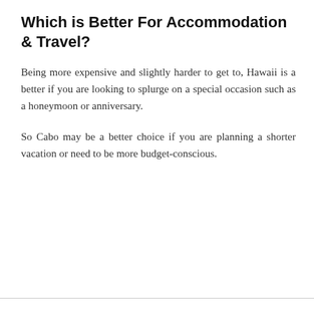Which is Better For Accommodation & Travel?
Being more expensive and slightly harder to get to, Hawaii is a better if you are looking to splurge on a special occasion such as a honeymoon or anniversary.
So Cabo may be a better choice if you are planning a shorter vacation or need to be more budget-conscious.